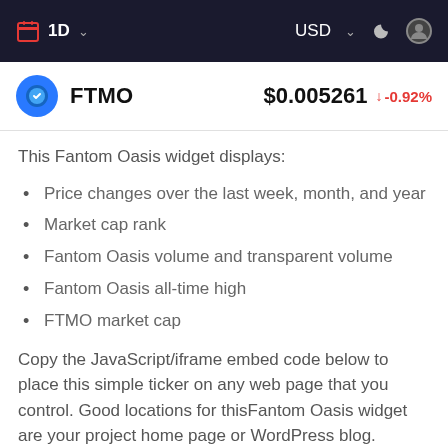1D   USD
FTMO   $0.005261   -0.92%
This Fantom Oasis widget displays:
Price changes over the last week, month, and year
Market cap rank
Fantom Oasis volume and transparent volume
Fantom Oasis all-time high
FTMO market cap
Copy the JavaScript/iframe embed code below to place this simple ticker on any web page that you control. Good locations for thisFantom Oasis widget are your project home page or WordPress blog.
By default, this widget displays live charts and prices based on FTMO to USD exchange rates. The widget